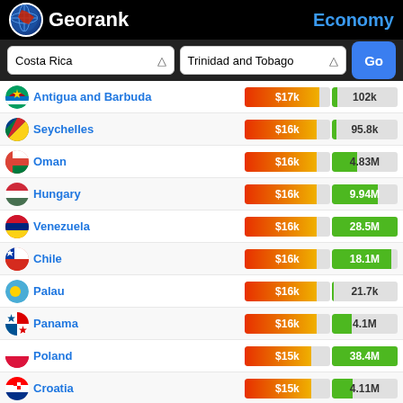Georank — Economy
Costa Rica | Trinidad and Tobago | Go
| Country | GDP per capita | Population |
| --- | --- | --- |
| Antigua and Barbuda | $17k | 102k |
| Seychelles | $16k | 95.8k |
| Oman | $16k | 4.83M |
| Hungary | $16k | 9.94M |
| Venezuela | $16k | 28.5M |
| Chile | $16k | 18.1M |
| Palau | $16k | 21.7k |
| Panama | $16k | 4.1M |
| Poland | $15k | 38.4M |
| Croatia | $15k | 4.11M |
| Romania | $12k | 19.6M |